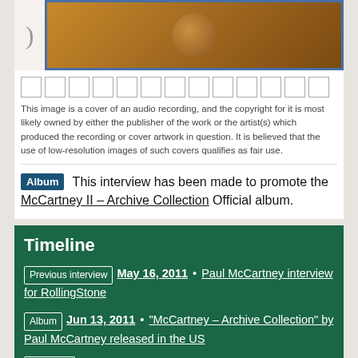[Figure (photo): Album cover image showing a brown/golden textured surface with a circular shape, partially visible. Left side shows a white area with a parenthesis character.]
[Figure (other): Row of 13 empty checkbox/star rating squares]
This image is a cover of an audio recording, and the copyright for it is most likely owned by either the publisher of the work or the artist(s) which produced the recording or cover artwork in question. It is believed that the use of low-resolution images of such covers qualifies as fair use.
Album  This interview has been made to promote the McCartney II – Archive Collection Official album.
Timeline
Previous interview  May 16, 2011 • Paul McCartney interview for RollingStone
Album  Jun 13, 2011 • "McCartney – Archive Collection" by Paul McCartney released in the US